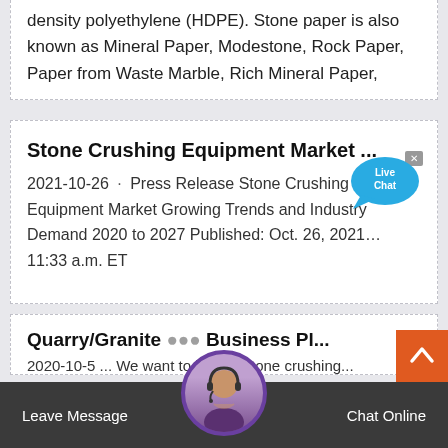density polyethylene (HDPE). Stone paper is also known as Mineral Paper, Modestone, Rock Paper, Paper from Waste Marble, Rich Mineral Paper,
Stone Crushing Equipment Market ...
2021-10-26 · Press Release Stone Crushing Equipment Market Growing Trends and Industry Demand 2020 to 2027 Published: Oct. 26, 2021… 11:33 a.m. ET
Quarry/Granite Business Pl...
2020-10-5 … We want to build a stone crushing...